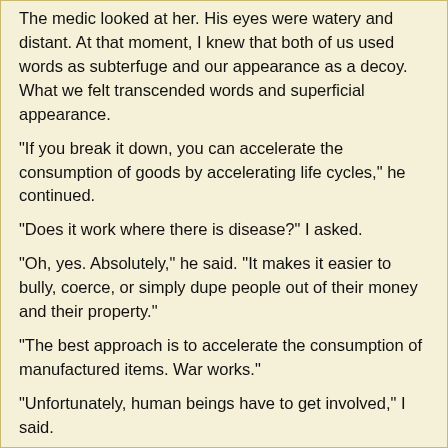The medic looked at her. His eyes were watery and distant. At that moment, I knew that both of us used words as subterfuge and our appearance as a decoy. What we felt transcended words and superficial appearance.
"If you break it down, you can accelerate the consumption of goods by accelerating life cycles," he continued.
"Does it work where there is disease?" I asked.
"Oh, yes. Absolutely," he said. "It makes it easier to bully, coerce, or simply dupe people out of their money and their property."
"The best approach is to accelerate the consumption of manufactured items. War works."
"Unfortunately, human beings have to get involved," I said.
"Why not robot wars?" he asked.
"Like Terminator or a 50s sci-fi film?" I asked.
"It would work, except it would miss a huge piece of the